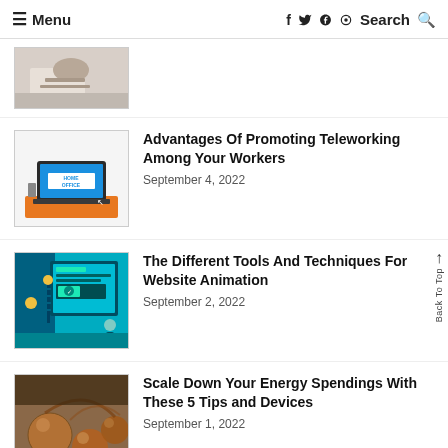☰ Menu   f  t  p  ⊙  Search 🔍
[Figure (photo): Partial thumbnail of a person at a desk with papers, top article image (cropped)]
[Figure (illustration): Thumbnail showing a laptop with HOME OFFICE text on screen, orange base]
Advantages Of Promoting Teleworking Among Your Workers
September 4, 2022
[Figure (illustration): Thumbnail showing web design tools, blue/teal colors with people working on a large screen]
The Different Tools And Techniques For Website Animation
September 2, 2022
[Figure (photo): Thumbnail showing spherical copper/bronze colored objects, partial image]
Scale Down Your Energy Spendings With These 5 Tips and Devices
September 1, 2022